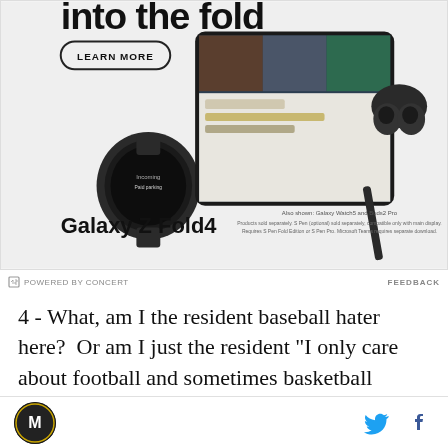[Figure (photo): Samsung Galaxy Z Fold4 advertisement showing the foldable phone with video call on screen, alongside Galaxy Watch5 and Buds2 Pro. Text reads 'into the fold', 'LEARN MORE', 'Galaxy Z Fold4', 'Also shown: Galaxy Watch5 and Buds2 Pro'. Fine print about S Pen sold separately.]
POWERED BY CONCERT   FEEDBACK
4 - What, am I the resident baseball hater here?  Or am I just the resident "I only care about football and sometimes basketball guy"?  Wait...yes on both.  Favorite Spring Sport.  Hmm.  Does the Black and Gold game count?  Because it should.  I ran track in high school.....as a freshman.  After that I made sure I
M [logo]   [Twitter icon]  [Facebook icon]